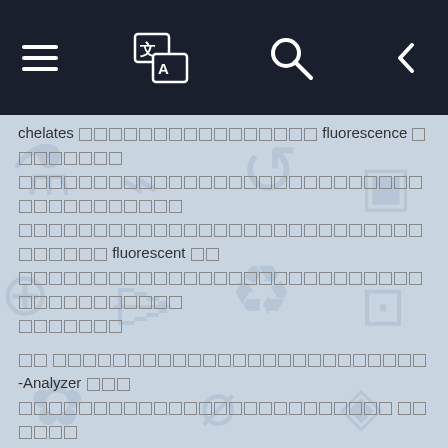[Navigation bar with hamburger menu, translate icon, search icon, and back arrow]
chelates [redacted characters] fluorescence [redacted characters] [redacted paragraph] fluorescent [redacted characters] [redacted paragraph]
[redacted] [redacted]-Analyzer [redacted paragraph with medical content about ICU/ER usage]
[redacted] ER[redacted] ICU[redacted paragraph]